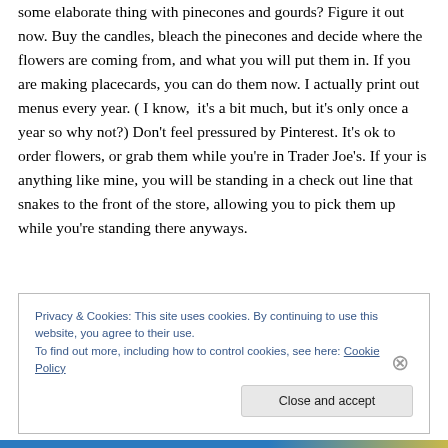some elaborate thing with pinecones and gourds? Figure it out now. Buy the candles, bleach the pinecones and decide where the flowers are coming from, and what you will put them in. If you are making placecards, you can do them now. I actually print out menus every year. ( I know, it's a bit much, but it's only once a year so why not?) Don't feel pressured by Pinterest. It's ok to order flowers, or grab them while you're in Trader Joe's. If your is anything like mine, you will be standing in a check out line that snakes to the front of the store, allowing you to pick them up while you're standing there anyways.
Privacy & Cookies: This site uses cookies. By continuing to use this website, you agree to their use.
To find out more, including how to control cookies, see here: Cookie Policy
Close and accept